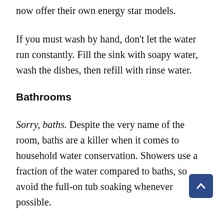now offer their own energy star models.
If you must wash by hand, don't let the water run constantly. Fill the sink with soapy water, wash the dishes, then refill with rinse water.
Bathrooms
Sorry, baths. Despite the very name of the room, baths are a killer when it comes to household water conservation. Showers use a fraction of the water compared to baths, so avoid the full-on tub soaking whenever possible.
Go low-flow. New low-flow showerheads match the performance of older ones of this type, and it